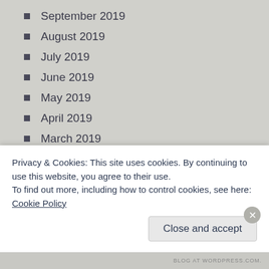September 2019
August 2019
July 2019
June 2019
May 2019
April 2019
March 2019
February 2019
January 2019
December 2018
November 2018
Privacy & Cookies: This site uses cookies. By continuing to use this website, you agree to their use.
To find out more, including how to control cookies, see here: Cookie Policy
BLOG AT WORDPRESS.COM.